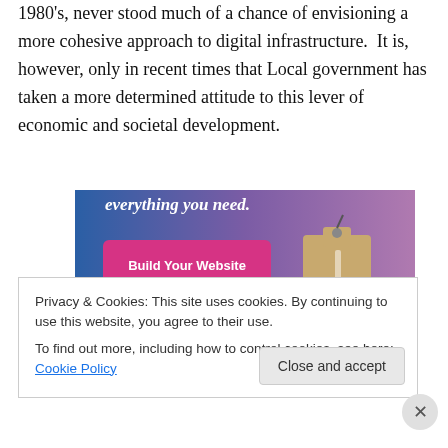1980's, never stood much of a chance of envisioning a more cohesive approach to digital infrastructure.  It is, however, only in recent times that Local government has taken a more determined attitude to this lever of economic and societal development.
[Figure (screenshot): Website builder advertisement with blue-to-purple gradient background, 'everything you need.' text at top in white italic, a pink 'Build Your Website' button on the left, and a 3D tan price tag hanging on the right side.]
Privacy & Cookies: This site uses cookies. By continuing to use this website, you agree to their use.
To find out more, including how to control cookies, see here: Cookie Policy